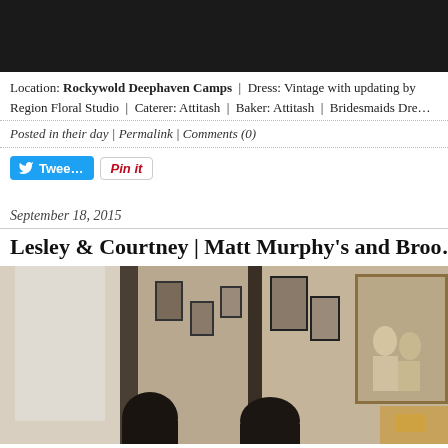[Figure (photo): Dark/black top portion of a photo, partially cropped]
Location: Rockywold Deephaven Camps | Dress: Vintage with updating by ... Region Floral Studio | Caterer: Attitash | Baker: Attitash | Bridesmaids Dre...
Posted in their day | Permalink | Comments (0)
[Figure (other): Twitter Tweet button and Pinterest Pin it button]
September 18, 2015
Lesley & Courtney | Matt Murphy's and Broo...
[Figure (photo): Interior restaurant/bar scene showing a couple in silhouette with framed photos on the wall]